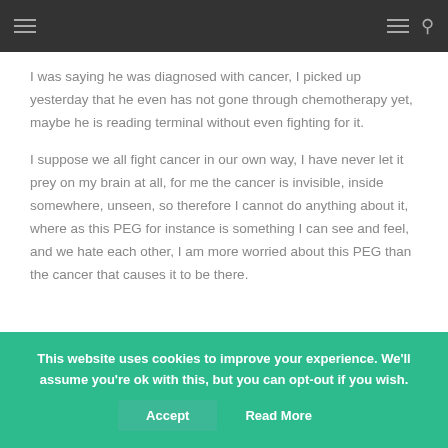Navigation header with hamburger menus and search icon
I was saying he was diagnosed with cancer, I picked up yesterday that he even has not gone through chemotherapy yet, maybe he is reading terminal without even fighting for it.
I suppose we all fight cancer in our own way, I have never let it prey on my brain at all, for me the cancer is invisible, inside somewhere, unseen, so therefore I cannot do anything about it, where as this PEG for instance is something I can see and feel, and we hate each other, I am more worried about this PEG than the cancer that causes it to be there.
This website uses cookies to improve your experience. We'll assume you're ok with this, but you can opt-out if you wish. Accept Read More